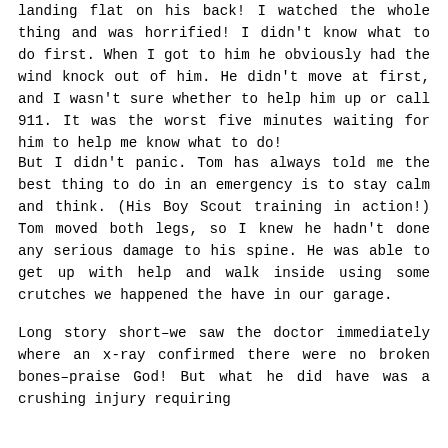landing flat on his back! I watched the whole thing and was horrified! I didn't know what to do first. When I got to him he obviously had the wind knock out of him. He didn't move at first, and I wasn't sure whether to help him up or call 911. It was the worst five minutes waiting for him to help me know what to do!
But I didn't panic. Tom has always told me the best thing to do in an emergency is to stay calm and think. (His Boy Scout training in action!) Tom moved both legs, so I knew he hadn't done any serious damage to his spine. He was able to get up with help and walk inside using some crutches we happened the have in our garage.
Long story short–we saw the doctor immediately where an x-ray confirmed there were no broken bones–praise God! But what he did have was a crushing injury requiring